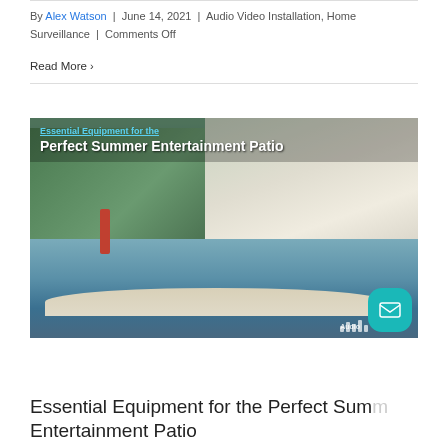By Alex Watson | June 14, 2021 | Audio Video Installation, Home Surveillance | Comments Off
Read More ›
[Figure (photo): Outdoor backyard patio with swimming pool and house, overlaid with text 'Essential Equipment for the Perfect Summer Entertainment Patio']
Essential Equipment for the Perfect Summer Entertainment Patio